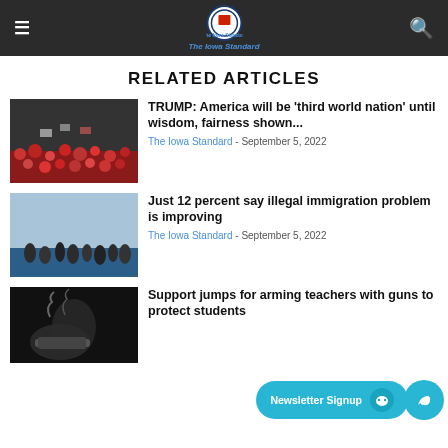The Iowa Standard
RELATED ARTICLES
[Figure (photo): Trump rally crowd photo]
TRUMP: America will be 'third world nation' until wisdom, fairness shown...
The Iowa Standard - September 5, 2022
[Figure (photo): Migrants crossing water at the border]
Just 12 percent say illegal immigration problem is improving
The Iowa Standard - September 5, 2022
[Figure (photo): Dark image with smoke, possibly related to guns or weapons]
Support jumps for arming teachers with guns to protect students